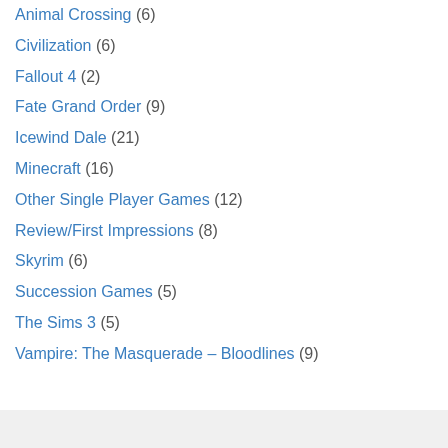Animal Crossing (6)
Civilization (6)
Fallout 4 (2)
Fate Grand Order (9)
Icewind Dale (21)
Minecraft (16)
Other Single Player Games (12)
Review/First Impressions (8)
Skyrim (6)
Succession Games (5)
The Sims 3 (5)
Vampire: The Masquerade – Bloodlines (9)